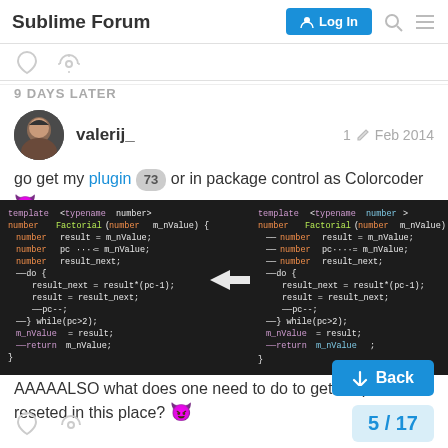Sublime Forum | Log In
9 DAYS LATER
valerij_   1  Feb 2014
go get my plugin 73 or in package control as Colorcoder 😈
[Figure (screenshot): Side-by-side C++ code comparison before and after Colorcoder plugin colorization, dark background, showing template<typename number> Factorial function]
AAAAALSO what does one need to do to get his password reseted in this place? 😈
Back
5 / 17